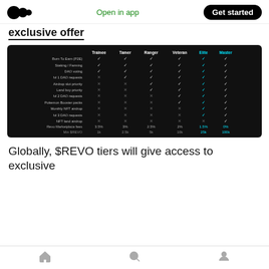Open in app | Get started
exclusive offer
[Figure (table-as-image): REVO tier comparison table with columns: Trainee, Tamer, Ranger, Veteran, Elite (teal), Master (teal). Rows: Burn To Earn (P2E), Staking/Farming, DAO voting, lvl 1 DAO requests, Airdrop slot priority, Land buy priority, lvl 2 DAO requests, Pokemon Booster packs, Monthly NFT airdrop, lvl 3 DAO requests, NFT land airdrop, Revo Marketplace fees, Min $REVO. Check marks and X marks indicate tier access.]
Globally, $REVO tiers will give access to exclusive
Home | Search | Profile